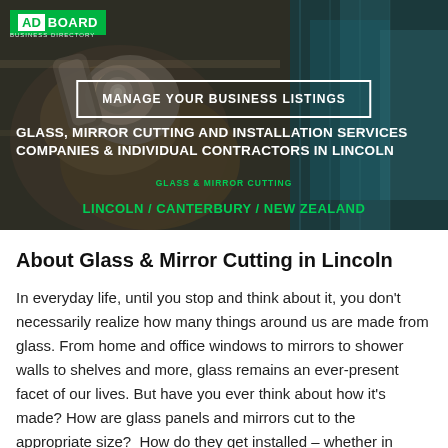[Figure (photo): Hero banner image showing glass cutting tool/wheel on glass surface with teal/blue reflections, overlaid with AdBoard logo, a 'Manage Your Business Listings' button, and title text about glass and mirror cutting services in Lincoln, Canterbury, New Zealand.]
About Glass & Mirror Cutting in Lincoln
In everyday life, until you stop and think about it, you don't necessarily realize how many things around us are made from glass. From home and office windows to mirrors to shower walls to shelves and more, glass remains an ever-present facet of our lives. But have you ever think about how it's made? How are glass panels and mirrors cut to the appropriate size?  How do they get installed – whether in